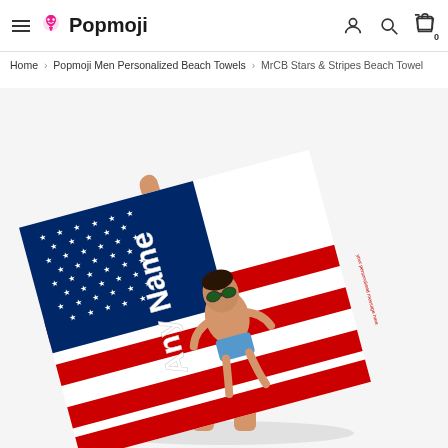Popmoji — navigation header with hamburger menu, logo, user icon, search icon, cart icon (0)
Home > Popmoji Men Personalized Beach Towels > MrCB Stars & Stripes Beach Towel
[Figure (photo): Man holding a large American flag-themed personalized beach towel with 'Any Name' text and cartoon character printed on it. The towel features red and white stripes with a blue stars section. Man is shirtless and wearing white shorts.]